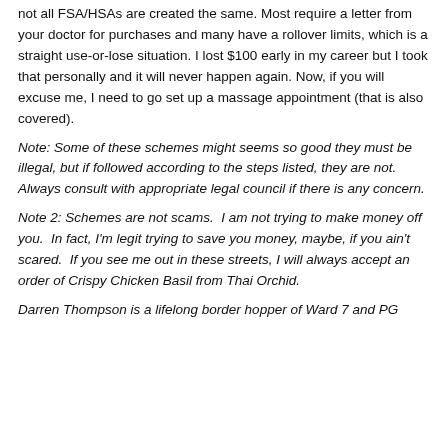not all FSA/HSAs are created the same. Most require a letter from your doctor for purchases and many have a rollover limits, which is a straight use-or-lose situation. I lost $100 early in my career but I took that personally and it will never happen again. Now, if you will excuse me, I need to go set up a massage appointment (that is also covered).
Note: Some of these schemes might seems so good they must be illegal, but if followed according to the steps listed, they are not. Always consult with appropriate legal council if there is any concern.
Note 2: Schemes are not scams. I am not trying to make money off you. In fact, I'm legit trying to save you money, maybe, if you ain't scared. If you see me out in these streets, I will always accept an order of Crispy Chicken Basil from Thai Orchid.
Darren Thompson is a lifelong border hopper of Ward 7 and PG...